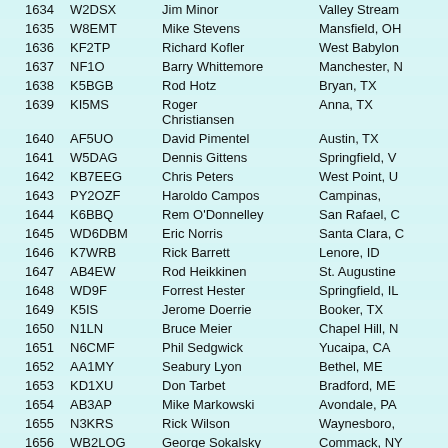| # | Call | Name | Location |
| --- | --- | --- | --- |
| 1634 | W2DSX | Jim Minor | Valley Stream |
| 1635 | W8EMT | Mike Stevens | Mansfield, OH |
| 1636 | KF2TP | Richard Kofler | West Babylon |
| 1637 | NF1O | Barry Whittemore | Manchester, N |
| 1638 | K5BGB | Rod Hotz | Bryan, TX |
| 1639 | KI5MS | Roger Christiansen | Anna, TX |
| 1640 | AF5UO | David Pimentel | Austin, TX |
| 1641 | W5DAG | Dennis Gittens | Springfield, V |
| 1642 | KB7EEG | Chris Peters | West Point, U |
| 1643 | PY2OZF | Haroldo Campos | Campinas, |
| 1644 | K6BBQ | Rem O'Donnelley | San Rafael, C |
| 1645 | WD6DBM | Eric Norris | Santa Clara, C |
| 1646 | K7WRB | Rick Barrett | Lenore, ID |
| 1647 | AB4EW | Rod Heikkinen | St. Augustine |
| 1648 | WD9F | Forrest Hester | Springfield, IL |
| 1649 | K5IS | Jerome Doerrie | Booker, TX |
| 1650 | N1LN | Bruce Meier | Chapel Hill, N |
| 1651 | N6CMF | Phil Sedgwick | Yucaipa, CA |
| 1652 | AA1MY | Seabury Lyon | Bethel, ME |
| 1653 | KD1XU | Don Tarbet | Bradford, ME |
| 1654 | AB3AP | Mike Markowski | Avondale, PA |
| 1655 | N3KRS | Rick Wilson | Waynesboro, |
| 1656 | WB2LOG | George Sokalsky | Commack, NY |
| 1657 | KG1W | Richard Davis | Norwalk, CT |